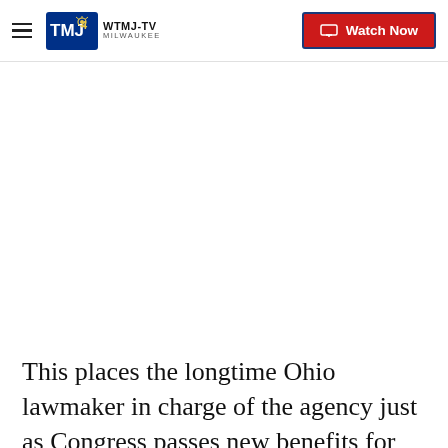WTMJ-TV MILWAUKEE | Watch Now
This places the longtime Ohio lawmaker in charge of the agency just as Congress passes new benefits for renters and homeowners who have suffered economic